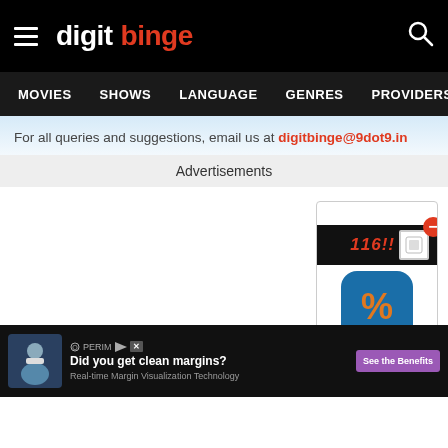digit binge — MOVIES  SHOWS  LANGUAGE  GENRES  PROVIDERS  LATE
For all queries and suggestions, email us at digitbinge@9dot9.in
Advertisements
[Figure (screenshot): Advertisement box in top-right with a percent icon app and a close button]
[Figure (screenshot): X close button overlay on the ad area]
[Figure (screenshot): Bottom banner ad: Did you get clean margins? Real-time Margin Visualization Technology. See the Benefits.]